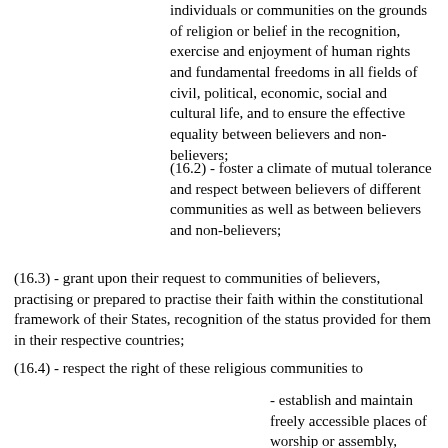individuals or communities on the grounds of religion or belief in the recognition, exercise and enjoyment of human rights and fundamental freedoms in all fields of civil, political, economic, social and cultural life, and to ensure the effective equality between believers and non-believers;
(16.2) - foster a climate of mutual tolerance and respect between believers of different communities as well as between believers and non-believers;
(16.3) - grant upon their request to communities of believers, practising or prepared to practise their faith within the constitutional framework of their States, recognition of the status provided for them in their respective countries;
(16.4) - respect the right of these religious communities to
- establish and maintain freely accessible places of worship or assembly,